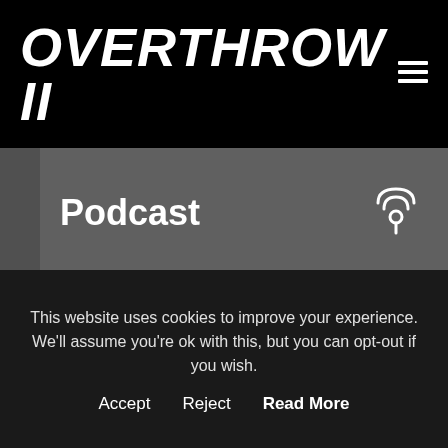OVERTHROW II
Podcast
PHD & eatbigfish discuss community-powered challengers with Reddit
This website uses cookies to improve your experience. We'll assume you're ok with this, but you can opt-out if you wish.
Accept   Reject   Read More